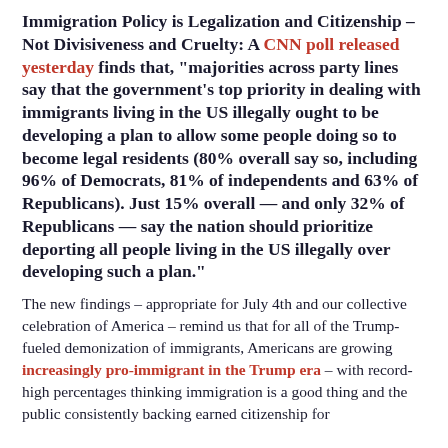Immigration Policy is Legalization and Citizenship – Not Divisiveness and Cruelty: A CNN poll released yesterday finds that, "majorities across party lines say that the government's top priority in dealing with immigrants living in the US illegally ought to be developing a plan to allow some people doing so to become legal residents (80% overall say so, including 96% of Democrats, 81% of independents and 63% of Republicans). Just 15% overall — and only 32% of Republicans — say the nation should prioritize deporting all people living in the US illegally over developing such a plan."
The new findings – appropriate for July 4th and our collective celebration of America – remind us that for all of the Trump-fueled demonization of immigrants, Americans are growing increasingly pro-immigrant in the Trump era – with record-high percentages thinking immigration is a good thing and the public consistently backing earned citizenship for